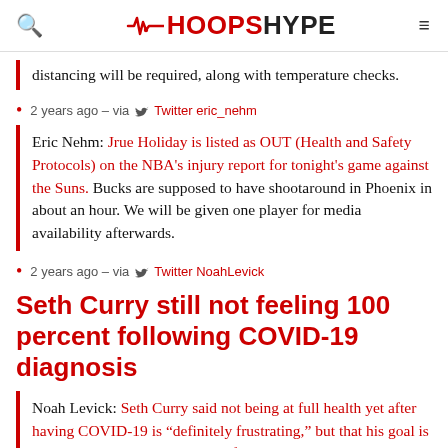HOOPSHYPE
distancing will be required, along with temperature checks.
2 years ago – via Twitter eric_nehm
Eric Nehm: Jrue Holiday is listed as OUT (Health and Safety Protocols) on the NBA's injury report for tonight's game against the Suns. Bucks are supposed to have shootaround in Phoenix in about an hour. We will be given one player for media availability afterwards.
2 years ago – via Twitter NoahLevick
Seth Curry still not feeling 100 percent following COVID-19 diagnosis
Noah Levick: Seth Curry said not being at full health yet after having COVID-19 is "definitely frustrating," but that his goal is being in the best shape possible for important games at the end of the season. He said that